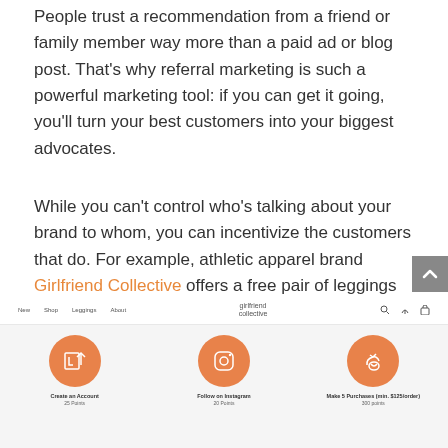People trust a recommendation from a friend or family member way more than a paid ad or blog post. That's why referral marketing is such a powerful marketing tool: if you can get it going, you'll turn your best customers into your biggest advocates.
While you can't control who's talking about your brand to whom, you can incentivize the customers that do. For example, athletic apparel brand Girlfriend Collective offers a free pair of leggings to customers who successfully refer a friend.
[Figure (screenshot): Screenshot of Girlfriend Collective website showing a loyalty/referral program with three steps: Create an Account (25 Points), Follow on Instagram (20 Points), Make 5 Purchases (min. $125/order) (300 points). Each step has an orange circle icon.]